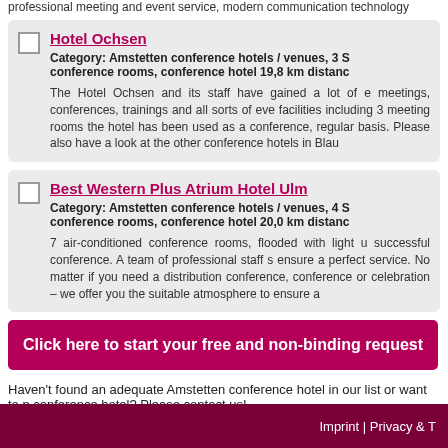professional meeting and event service, modern communication technology
Hotel Ochsen - Category: Amstetten conference hotels / venues, 3 S conference rooms, conference hotel 19,8 km distance. The Hotel Ochsen and its staff have gained a lot of experience in meetings, conferences, trainings and all sorts of events. facilities including 3 meeting rooms the hotel has been used as a conference hotel on a regular basis. Please also have a look at the other conference hotels in Blau
Best Western Plus Atrium Hotel Ulm - Category: Amstetten conference hotels / venues, 4 S conference rooms, conference hotel 20,0 km distance. 7 air-conditioned conference rooms, flooded with light up to ensure a perfect service. successful conference. A team of professional staff s ensure a perfect service. No matter if you need a distribution conference, conference or celebration – we offer you the suitable atmosphere to ensure a
Click here to start your free and non-binding request
Haven't found an adequate Amstetten conference hotel in our list or want to p conference hotel? Please contact us!
Imprint | Privacy & T